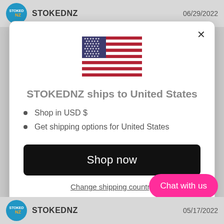STOKEDNZ   06/29/2022
[Figure (screenshot): Modal dialog showing STOKEDNZ ships to United States with a US flag icon, shop now button, and change shipping country link]
STOKEDNZ ships to United States
Shop in USD $
Get shipping options for United States
Shop now
Change shipping country
Chat with us
STOKEDNZ   05/17/2022